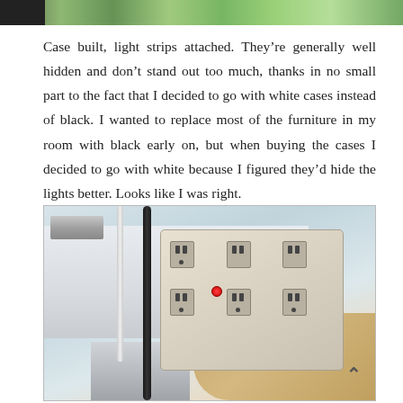[Figure (photo): Top portion of a room photo showing decorative elements with teal/blue colors visible at top]
Case built, light strips attached. They’re generally well hidden and don’t stand out too much, thanks in no small part to the fact that I decided to go with white cases instead of black. I wanted to replace most of the furniture in my room with black early on, but when buying the cases I decided to go with white because I figured they’d hide the lights better. Looks like I was right.
[Figure (photo): Photo of a multi-outlet power strip mounted under a white desk surface, with black and white cables visible, and a red power button on the strip. Hardwood floor visible in background. An upward chevron arrow appears in the lower right.]